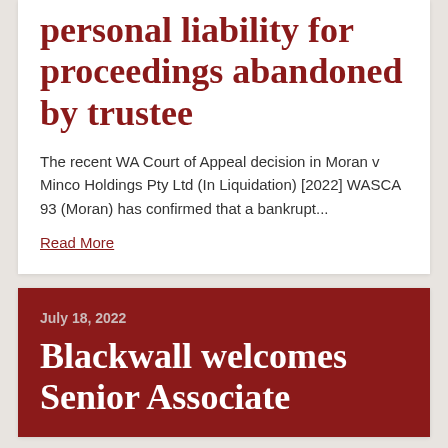personal liability for proceedings abandoned by trustee
The recent WA Court of Appeal decision in Moran v Minco Holdings Pty Ltd (In Liquidation) [2022] WASCA 93 (Moran) has confirmed that a bankrupt...
Read More
July 18, 2022
Blackwall welcomes Senior Associate